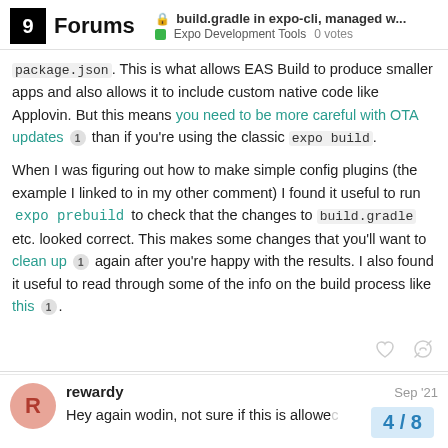Forums | build.gradle in expo-cli, managed w... | Expo Development Tools | 0 votes
package.json. This is what allows EAS Build to produce smaller apps and also allows it to include custom native code like Applovin. But this means you need to be more careful with OTA updates [1] than if you're using the classic expo build.
When I was figuring out how to make simple config plugins (the example I linked to in my other comment) I found it useful to run expo prebuild to check that the changes to build.gradle etc. looked correct. This makes some changes that you'll want to clean up [1] again after you're happy with the results. I also found it useful to read through some of the info on the build process like this [1].
rewardy  Sep '21
Hey again wodin, not sure if this is allowed